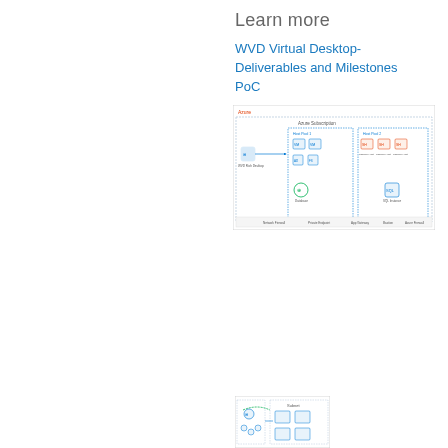Learn more
WVD Virtual Desktop-Deliverables and Milestones PoC
[Figure (schematic): WVD Virtual Desktop architecture diagram showing Azure subscription zones, host pools, session hosts, and client connections with networking components]
[Figure (schematic): Partial architecture diagram visible at bottom of page showing network components and connections]